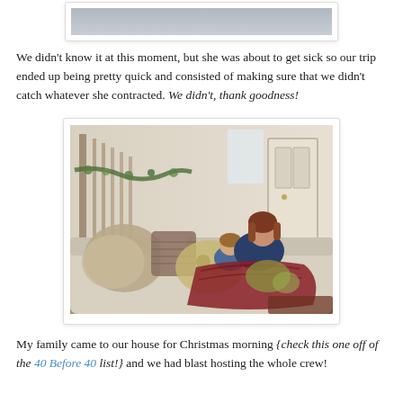[Figure (photo): Top portion of a photo visible at the top of the page, partially cropped, appears to show a scene indoors.]
We didn't know it at this moment, but she was about to get sick so our trip ended up being pretty quick and consisted of making sure that we didn't catch whatever she contracted. We didn't, thank goodness!
[Figure (photo): A woman and a young child snuggled together on a couch covered with a colorful blanket and pillows. A staircase with garland is visible in the background, suggesting a Christmas holiday setting.]
My family came to our house for Christmas morning {check this one off of the 40 Before 40 list!} and we had blast hosting the whole crew!